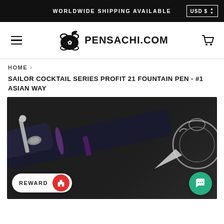WORLDWIDE SHIPPING AVAILABLE   USD $
[Figure (logo): Pensachi.com logo with scroll and pen icon]
HOME >
SAILOR COCKTAIL SERIES PROFIT 21 FOUNTAIN PEN - #1 ASIAN WAY
[Figure (photo): Close-up photo of a dark navy/black Sailor Profit 21 fountain pen on a dark surface next to a glass ink bottle. The pen cap shows a silver clip and purple accents. The photo is dimly lit.]
REWARD
Chat icon